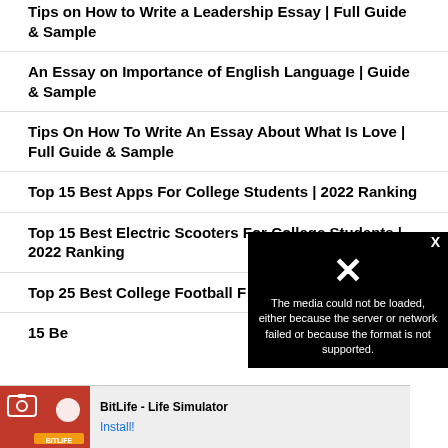Tips on How to Write a Leadership Essay | Full Guide & Sample
An Essay on Importance of English Language | Guide & Sample
Tips On How To Write An Essay About What Is Love | Full Guide & Sample
Top 15 Best Apps For College Students | 2022 Ranking
Top 15 Best Electric Scooters For College Students | 2022 Ranking
Top 25 Best College Football F…
15 Be…
[Figure (screenshot): Video error overlay: 'The media could not be loaded, either because the server or network failed or because the format is not supported.' with a large X button and close X in top right.]
[Figure (screenshot): Advertisement banner for BitLife - Life Simulator app with Install button.]